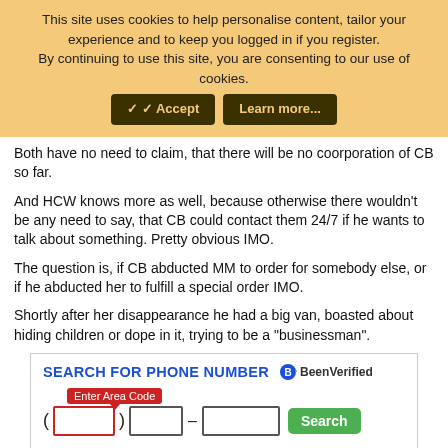This site uses cookies to help personalise content, tailor your experience and to keep you logged in if you register.
By continuing to use this site, you are consenting to our use of cookies.
Both have no need to claim, that there will be no coorporation of CB so far.
And HCW knows more as well, because otherwise there wouldn't be any need to say, that CB could contact them 24/7 if he wants to talk about something. Pretty obvious IMO.
The question is, if CB abducted MM to order for somebody else, or if he abducted her to fulfill a special order IMO.
Shortly after her disappearance he had a big van, boasted about hiding children or dope in it, trying to be a "businessman".
[Figure (screenshot): BeenVerified ad: SEARCH FOR PHONE NUMBER with area code input fields and Search button]